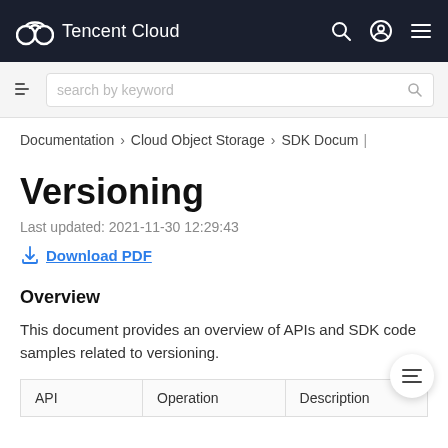Tencent Cloud
search by keyword
Documentation > Cloud Object Storage > SDK Docum
Versioning
Last updated: 2021-11-30 12:29:43
Download PDF
Overview
This document provides an overview of APIs and SDK code samples related to versioning.
| API | Operation | Description |
| --- | --- | --- |